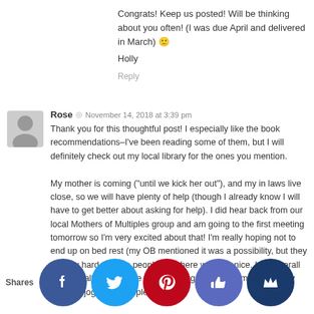Congrats! Keep us posted! Will be thinking about you often! (I was due April and delivered in March) 🙂
Holly
Reply
Rose  ◎  November 14, 2018 at 3:39 pm
Thank you for this thoughtful post! I especially like the book recommendations–I've been reading some of them, but I will definitely check out my local library for the ones you mention.
My mother is coming ("until we kick her out"), and my in laws live close, so we will have plenty of help (though I already know I will have to get better about asking for help). I did hear back from our local Mothers of Multiples group and am going to the first meeting tomorrow so I'm very excited about that! I'm really hoping not to end up on bed rest (my OB mentioned it was a possibility, but they try very hard to keep people off it here which is nice. I am overall pretty healthy and have been walking at least 30 minutes every day and jogging a couple weeks... I'm ho... it will h... I'll definitely give an update ... the babies come with h...
Shares